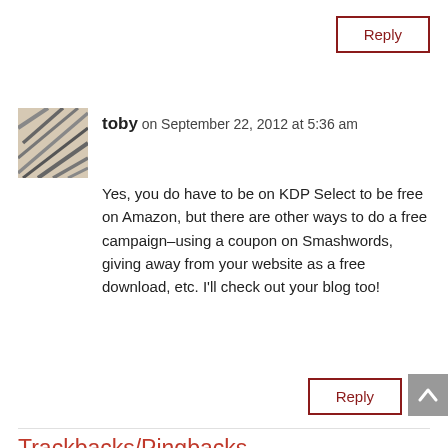Reply
toby on September 22, 2012 at 5:36 am
Yes, you do have to be on KDP Select to be free on Amazon, but there are other ways to do a free campaign–using a coupon on Smashwords, giving away from your website as a free download, etc. I'll check out your blog too!
Reply
Trackbacks/Pingbacks
1. Huki-Links: September 4, 2012 | Hawaii Book Blog - [...] -Top Three Reasons to Give Away Your Book. [Toby Neal] [...]